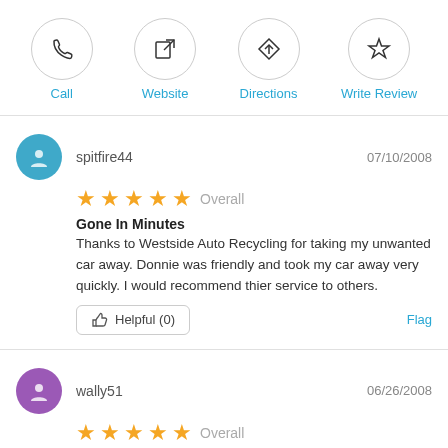Call
Website
Directions
Write Review
spitfire44  07/10/2008  ★★★★★ Overall  Gone In Minutes  Thanks to Westside Auto Recycling for taking my unwanted car away. Donnie was friendly and took my car away very quickly. I would recommend thier service to others.  Helpful (0)  Flag
wally51  06/26/2008  ★★★★★ Overall